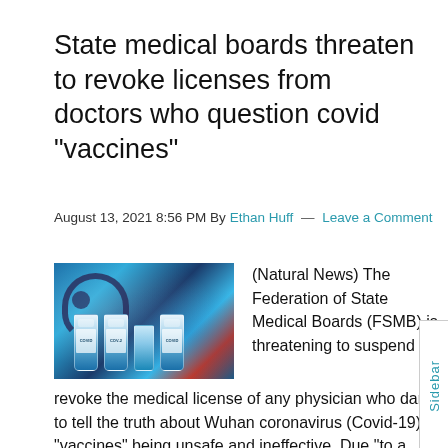State medical boards threaten to revoke licenses from doctors who question covid “vaccines”
August 13, 2021 8:56 PM By Ethan Huff — Leave a Comment
[Figure (photo): Photo of Covid-19 vaccine vials and a stethoscope with blue-toned background]
(Natural News) The Federation of State Medical Boards (FSMB) is threatening to suspend or revoke the medical license of any physician who dares to tell the truth about Wuhan coronavirus (Covid-19) “vaccines” being unsafe and ineffective. Due “to a dramatic increase in the dissemination of